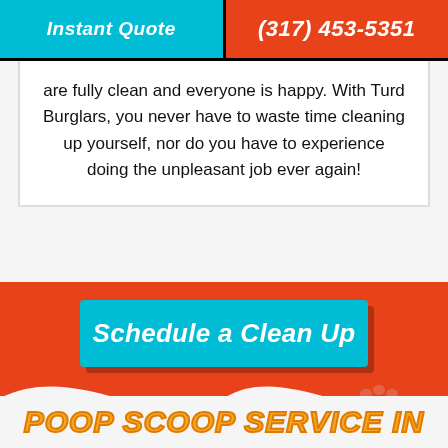Instant Quote | (317) 453-5351
are fully clean and everyone is happy. With Turd Burglars, you never have to waste time cleaning up yourself, nor do you have to experience doing the unpleasant job ever again!
[Figure (other): Schedule a Clean Up button on orange background with wave design and paw prints]
POOP SCOOP SERVICE IN